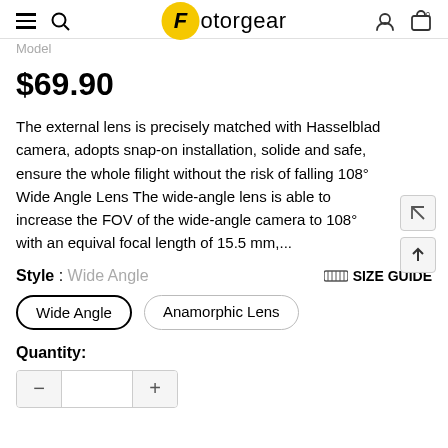Fotorgear
Model
$69.90
The external lens is precisely matched with Hasselblad camera, adopts snap-on installation, solide and safe, ensure the whole filight without the risk of falling 108° Wide Angle Lens The wide-angle lens is able to increase the FOV of the wide-angle camera to 108° with an equivalent focal length of 15.5 mm,...
Style : Wide Angle
SIZE GUIDE
Wide Angle
Anamorphic Lens
Quantity: